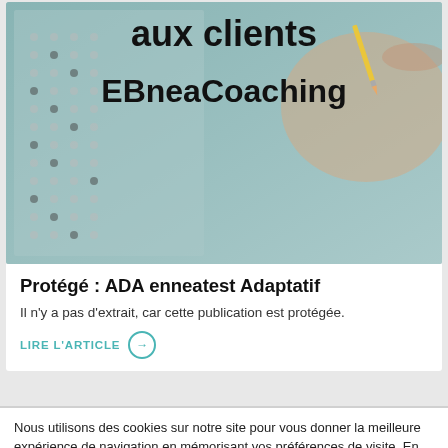[Figure (photo): Background photo showing a hand with pencil filling in a multiple choice answer sheet, overlaid with bold text: 'Ressources réservées aux clients EBneaCoaching']
Protégé : ADA enneatest Adaptatif
Il n'y a pas d'extrait, car cette publication est protégée.
LIRE L'ARTICLE →
Nous utilisons des cookies sur notre site pour vous donner la meilleure expérience de navigation en mémorisant vos préférences de visite. En cochant "Tout accepter", vous acceptez l'utilisation de tous les cookies. Cependant, vous pouvez allez à "Réglages" pour ajuster vos choix.
Réglages
Tout accepter